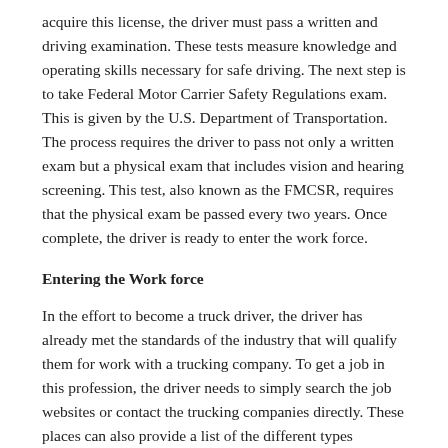acquire this license, the driver must pass a written and driving examination. These tests measure knowledge and operating skills necessary for safe driving. The next step is to take Federal Motor Carrier Safety Regulations exam. This is given by the U.S. Department of Transportation. The process requires the driver to pass not only a written exam but a physical exam that includes vision and hearing screening. This test, also known as the FMCSR, requires that the physical exam be passed every two years. Once complete, the driver is ready to enter the work force.
Entering the Work force
In the effort to become a truck driver, the driver has already met the standards of the industry that will qualify them for work with a trucking company. To get a job in this profession, the driver needs to simply search the job websites or contact the trucking companies directly. These places can also provide a list of the different types